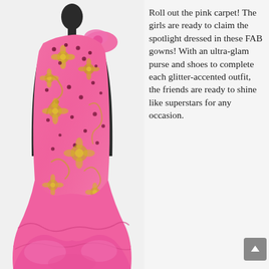[Figure (photo): A mannequin wearing a bright pink one-shoulder mermaid-style gown with gold glitter floral embellishments and dark pink/maroon beaded accents throughout. The dress has a dramatic ruffled/gathered skirt at the bottom. The mannequin is dark/black colored. A large pink bow or flower detail sits on the left shoulder. The background is white/light.]
Roll out the pink carpet! The girls are ready to claim the spotlight dressed in these FAB gowns! With an ultra-glam purse and shoes to complete each glitter-accented outfit, the friends are ready to shine like superstars for any occasion.